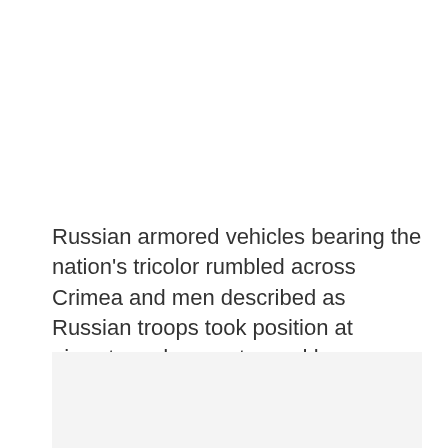Russian armored vehicles bearing the nation's tricolor rumbled across Crimea and men described as Russian troops took position at airports and a coast guard base.
[Figure (other): Light gray rectangular box at the bottom portion of the page, likely a placeholder for an image.]